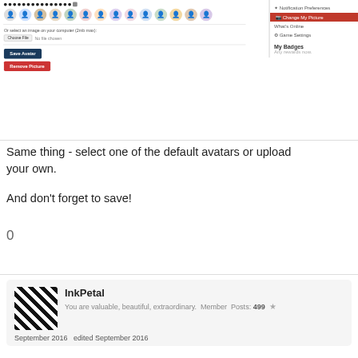[Figure (screenshot): Screenshot of avatar selection UI with dot selectors, avatar icons, file upload row, Save Avatar button, and Remove Picture button. Right sidebar shows Notification Preferences, Change My Picture (active), What's Online, Game Settings, My Badges, Any rewards now.]
Same thing - select one of the default avatars or upload your own.
And don't forget to save!
0
InkPetal
You are valuable, beautiful, extraordinary.  Member  Posts: 499  ★
September 2016   edited September 2016